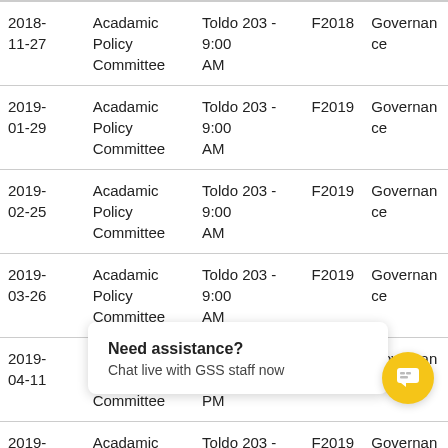| 2018-11-27 | Acadamic Policy Committee | Toldo 203 - 9:00 AM | F2018 | Governance |
| 2019-01-29 | Acadamic Policy Committee | Toldo 203 - 9:00 AM | F2019 | Governance |
| 2019-02-25 | Acadamic Policy Committee | Toldo 203 - 9:00 AM | F2019 | Governance |
| 2019-03-26 | Acadamic Policy Committee | Toldo 203 - 9:00 AM | F2019 | Governance |
| 2019-04-11 | Acadamic Policy Committee | Toldo 203 - 1:00 PM | F2019 | Governance |
| 2019- | Acadamic | Toldo 203 - 1:00 | F2019 | Governance |